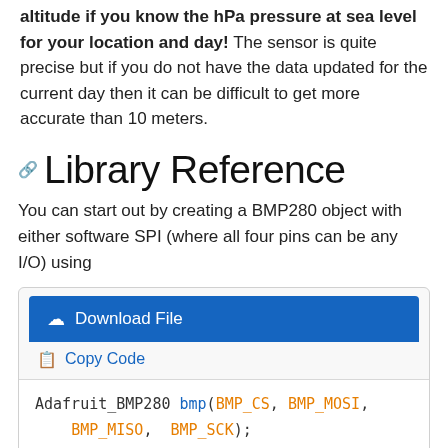altitude if you know the hPa pressure at sea level for your location and day! The sensor is quite precise but if you do not have the data updated for the current day then it can be difficult to get more accurate than 10 meters.
Library Reference
You can start out by creating a BMP280 object with either software SPI (where all four pins can be any I/O) using
[Figure (screenshot): Code block with Download File button (blue), Copy Code link, and code: Adafruit_BMP280 bmp(BMP_CS, BMP_MOSI, BMP_MISO, BMP_SCK);]